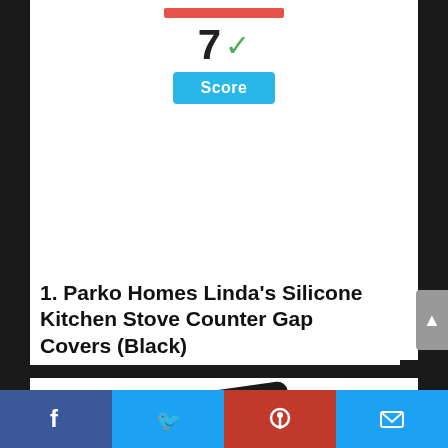[Figure (infographic): Score display showing a red bar, large '7' with green checkmark, and a cyan 'Score' button]
1. Parko Homes Linda's Silicone Kitchen Stove Counter Gap Covers (Black)
[Figure (photo): Product image showing black silicone gap covers with '2 Pack' text and Amazon logo curve]
Social share bar with Facebook, Twitter, Pinterest, and Email buttons